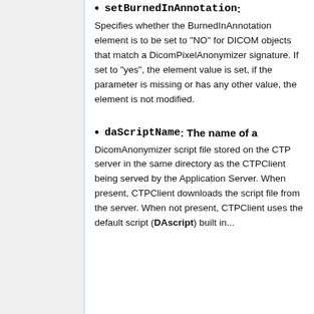setBurnedInAnnotation: Specifies whether the BurnedInAnnotation element is to be set to "NO" for DICOM objects that match a DicomPixelAnonymizer signature. If set to "yes", the element value is set, if the parameter is missing or has any other value, the element is not modified.
daScriptName: The name of a DicomAnonymizer script file stored on the CTP server in the same directory as the CTPClient being served by the Application Server. When present, CTPClient downloads the script file from the server. When not present, CTPClient uses the default script (DAscript) built in...